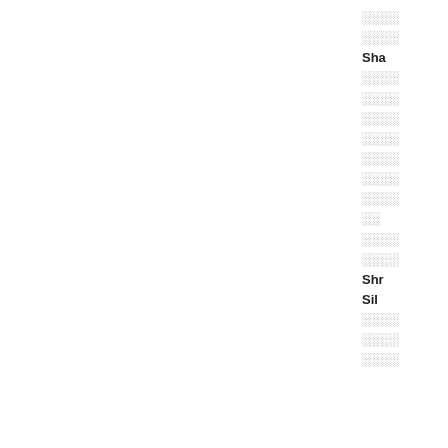░░░░
░░░░
Sha
░░░░
░░░░
░░░░
░░░░
░░░░
░░░░
░░░░
░░
░░░░
░░░░
Shr
Sil
░░░░
░░░░
░░░░